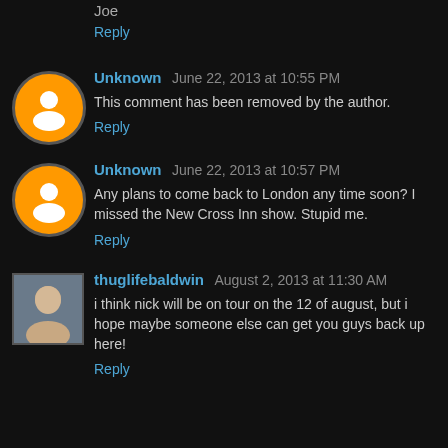Joe
Reply
Unknown June 22, 2013 at 10:55 PM
This comment has been removed by the author.
Reply
Unknown June 22, 2013 at 10:57 PM
Any plans to come back to London any time soon? I missed the New Cross Inn show. Stupid me.
Reply
thuglifebaldwin August 2, 2013 at 11:30 AM
i think nick will be on tour on the 12 of august, but i hope maybe someone else can get you guys back up here!
Reply